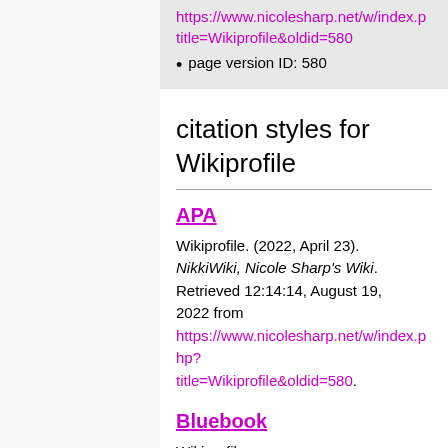https://www.nicolesharp.net/w/index.php?title=Wikiprofile&oldid=580
page version ID: 580
citation styles for Wikiprofile
APA
Wikiprofile. (2022, April 23). NikkiWiki, Nicole Sharp's Wiki. Retrieved 12:14:14, August 19, 2022 from https://www.nicolesharp.net/w/index.php?title=Wikiprofile&oldid=580.
Bluebook
Wikiprofile,